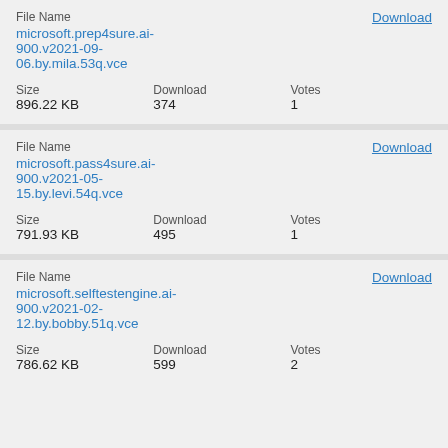File Name
microsoft.prep4sure.ai-900.v2021-09-06.by.mila.53q.vce
Download
| Size | Download | Votes |
| --- | --- | --- |
| 896.22 KB | 374 | 1 |
File Name
microsoft.pass4sure.ai-900.v2021-05-15.by.levi.54q.vce
Download
| Size | Download | Votes |
| --- | --- | --- |
| 791.93 KB | 495 | 1 |
File Name
microsoft.selftestengine.ai-900.v2021-02-12.by.bobby.51q.vce
Download
| Size | Download | Votes |
| --- | --- | --- |
| 786.62 KB | 599 | 2 |